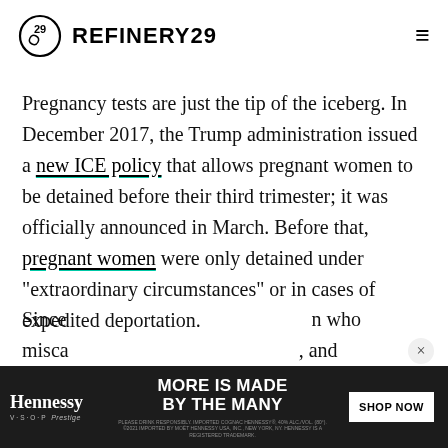REFINERY29
Pregnancy tests are just the tip of the iceberg. In December 2017, the Trump administration issued a new ICE policy that allows pregnant women to be detained before their third trimester; it was officially announced in March. Before that, pregnant women were only detained under "extraordinary circumstances" or in cases of expedited deportation.
Since [ad covers text] n who misca[ad covers text], and
[Figure (screenshot): Hennessy advertisement banner: dark background with Hennessy V.S.O.P Prestige logo on left, 'MORE IS MADE BY THE MANY' tagline in center, 'SHOP NOW' button on right, with legal disclaimer text at bottom.]